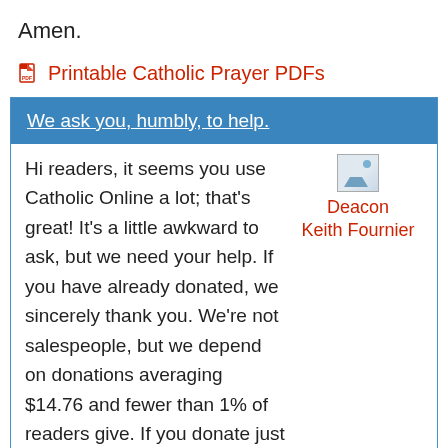Amen.
📄 Printable Catholic Prayer PDFs
We ask you, humbly, to help.
Hi readers, it seems you use Catholic Online a lot; that's great! It's a little awkward to ask, but we need your help. If you have already donated, we sincerely thank you. We're not salespeople, but we depend on donations averaging $14.76 and fewer than 1% of readers give. If you donate just $5.00, the price of your coffee, Catholic
[Figure (photo): Deacon Keith Fournier photo placeholder with red caption text]